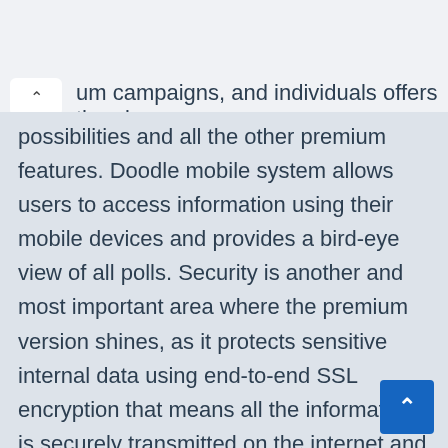um campaigns, and individuals offers theming possibilities and all the other premium features. Doodle mobile system allows users to access information using their mobile devices and provides a bird-eye view of all polls. Security is another and most important area where the premium version shines, as it protects sensitive internal data using end-to-end SSL encryption that means all the information is securely transmitted on the internet and encrypted for both campaigns and participants.